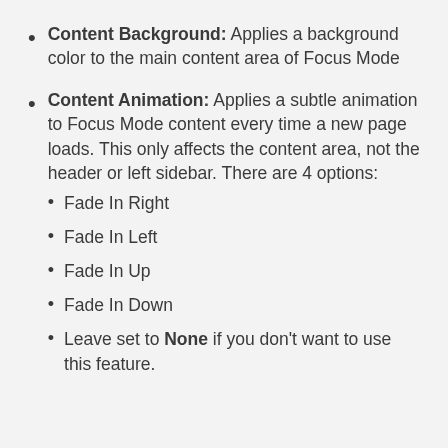Content Background: Applies a background color to the main content area of Focus Mode
Content Animation: Applies a subtle animation to Focus Mode content every time a new page loads. This only affects the content area, not the header or left sidebar. There are 4 options: Fade In Right, Fade In Left, Fade In Up, Fade In Down, Leave set to None if you don't want to use this feature.